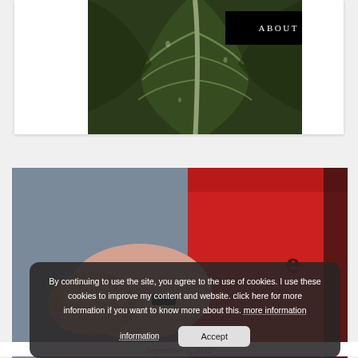[Figure (photo): Dark green tropical leaf background with 'ABOUT ME' text overlay in white on black rectangle]
ABOUT ME
[Figure (photo): Person in red hoodie sleeping or resting, with cookie consent overlay banner]
By continuing to use the site, you agree to the use of cookies. I use these cookies to improve my content and website. click here for more information if you want to know more about this. more information
Accept
September 2, 2022